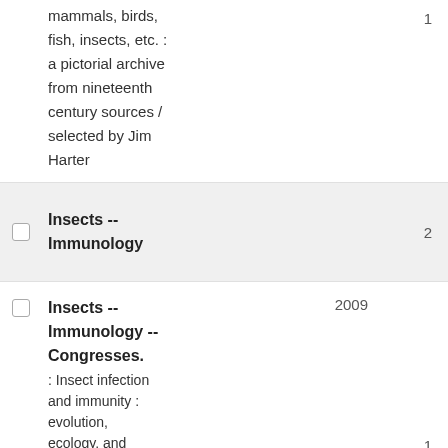mammals, birds, fish, insects, etc. : a pictorial archive from nineteenth century sources / selected by Jim Harter
1
Insects -- Immunology
2
Insects -- Immunology -- Congresses. : Insect infection and immunity : evolution, ecology, and
2009
1